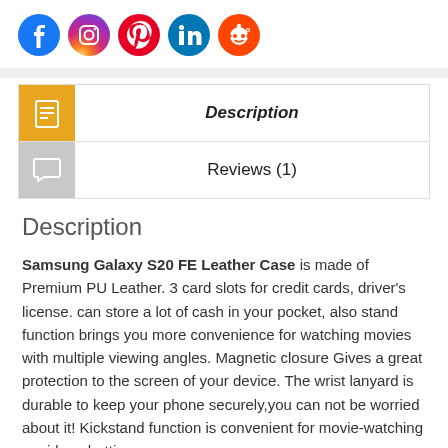[Figure (logo): Row of five social media icons: Facebook (blue), Instagram (gradient pink/purple), Pinterest (red), LinkedIn (blue), Reddit (orange)]
| [icon] | Description |
| [icon] | Reviews (1) |
Description
Samsung Galaxy S20 FE Leather Case is made of Premium PU Leather. 3 card slots for credit cards, driver's license. can store a lot of cash in your pocket, also stand function brings you more convenience for watching movies with multiple viewing angles. Magnetic closure Gives a great protection to the screen of your device. The wrist lanyard is durable to keep your phone securely,you can not be worried about it! Kickstand function is convenient for movie-watching or video-chatting.